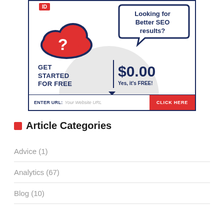[Figure (illustration): SEO advertisement banner showing a red cloud with a question mark, speech bubble saying 'Looking for Better SEO results?', 'GET STARTED FOR FREE | $0.00 Yes, it's FREE!' and a URL entry bar with 'CLICK HERE' button]
Article Categories
Advice (1)
Analytics (67)
Blog (10)